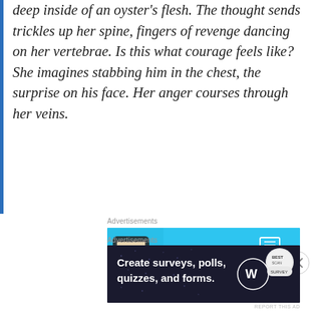deep inside of an oyster's flesh. The thought sends trickles up her spine, fingers of revenge dancing on her vertebrae. Is this what courage feels like? She imagines stabbing him in the chest, the surprise on his face. Her anger courses through her veins.
[Figure (other): Advertisement banner: 'Your Journal for life' - Day One app ad with blue background and phone image]
Alternating between Hana's harrowing experiences, we also learn of Emi's future after the day she was saved by her sister. Now an elderly woman, Emi's life has too been marred by the troubles of WWII, only to a
[Figure (other): Advertisement banner: 'Create surveys, polls, quizzes, and forms.' - dark background with WordPress logo]